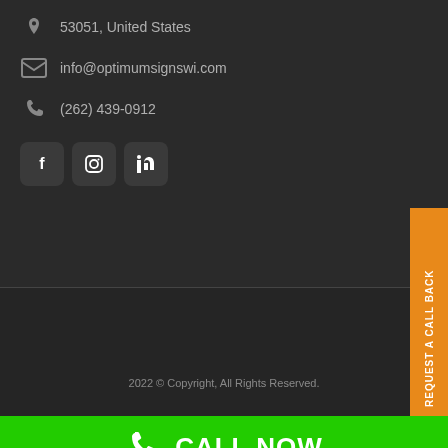53051, United States
info@optimumsignswi.com
(262) 439-0912
[Figure (illustration): Social media icon buttons: Facebook, Instagram, LinkedIn]
REQUEST A CALL BACK
2022 © Copyright, All Rights Reserved.
CALL NOW